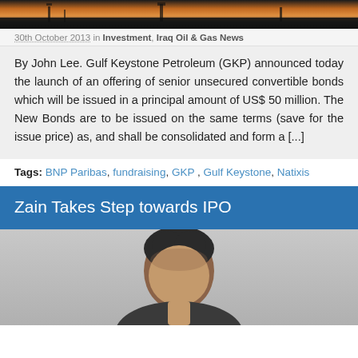[Figure (photo): Dark industrial/oil rig scene at sunset with orange sky]
30th October 2013 in Investment, Iraq Oil & Gas News
By John Lee. Gulf Keystone Petroleum (GKP) announced today the launch of an offering of senior unsecured convertible bonds which will be issued in a principal amount of US$ 50 million. The New Bonds are to be issued on the same terms (save for the issue price) as, and shall be consolidated and form a [...]
Tags: BNP Paribas, fundraising, GKP, Gulf Keystone, Natixis
Zain Takes Step towards IPO
[Figure (photo): Portrait photo of a person, head and shoulders visible]